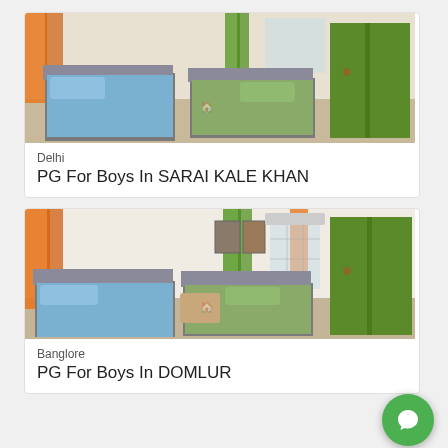[Figure (photo): Bedroom interior with two single beds with blue sheets, grey upholstered headboards, and green wardrobe. Orange and green curtains visible.]
Delhi
PG For Boys In SARAI KALE KHAN
[Figure (photo): Bedroom interior similar to above with two single beds with blue and green sheets, grey upholstered headboards, green wardrobe, orange and green curtains, paintings on wall.]
Banglore
PG For Boys In DOMLUR